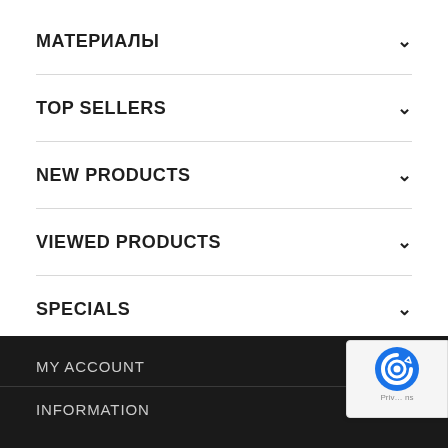МАТЕРИАЛЫ
TOP SELLERS
NEW PRODUCTS
VIEWED PRODUCTS
SPECIALS
WISHLIST
MY ACCOUNT
INFORMATION